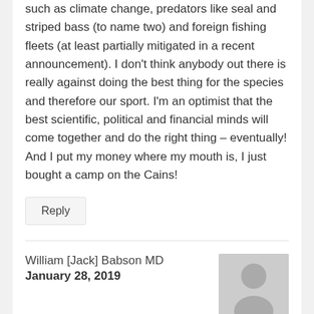such as climate change, predators like seal and striped bass (to name two) and foreign fishing fleets (at least partially mitigated in a recent announcement). I don't think anybody out there is really against doing the best thing for the species and therefore our sport. I'm an optimist that the best scientific, political and financial minds will come together and do the right thing – eventually! And I put my money where my mouth is, I just bought a camp on the Cains!
Reply
William [Jack] Babson MD
January 28, 2019
[Figure (illustration): Generic user avatar placeholder showing a silhouette of a person on a gray background]
Brad, Again, Thank you for asking Dr. Tommi Linnansaari to provide such a clear explanation of the CAST program. I just spent the last 1 and 1/2 hours carefully reading his remarks. It was really what I